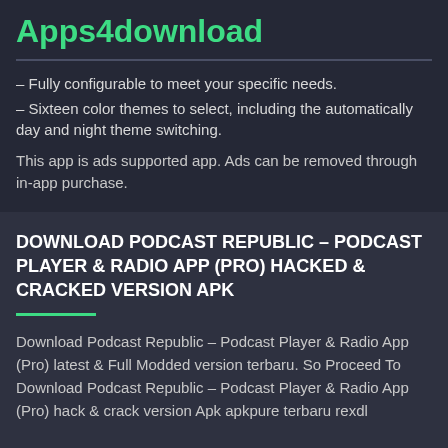Apps4download
– Fully configurable to meet your specific needs.
– Sixteen color themes to select, including the automatically day and night theme switching.
This app is ads supported app. Ads can be removed through in-app purchase.
DOWNLOAD PODCAST REPUBLIC – PODCAST PLAYER & RADIO APP (PRO) HACKED & CRACKED VERSION APK
Download Podcast Republic – Podcast Player & Radio App (Pro) latest & Full Modded version terbaru. So Proceed To Download Podcast Republic – Podcast Player & Radio App (Pro) hack & crack version Apk apkpure terbaru rexdl